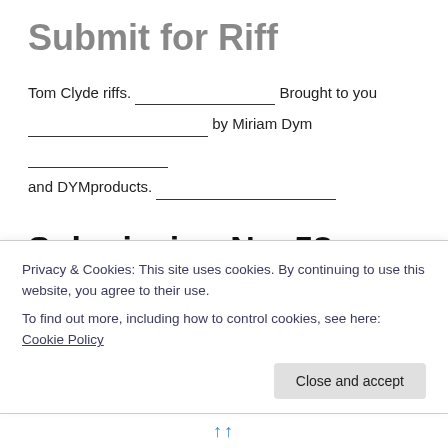Submit for Riff
Tom Clyde riffs. ___________________ Brought to you ___________________ by Miriam Dym ___________________ and DYMproducts. ___________________
Submission No. 58
MADAME ARIANE—
SECOND COURTYARD ON THE LEFT
He who asks fortunetellers the future unwittingly forfeits an
Privacy & Cookies: This site uses cookies. By continuing to use this website, you agree to their use. To find out more, including how to control cookies, see here: Cookie Policy
Close and accept